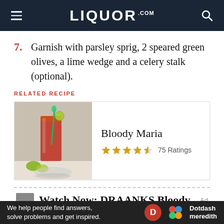LIQUOR.COM
7. Garnish with parsley sprig, 2 speared green olives, a lime wedge and a celery stalk (optional).
RELATED RECIPE
[Figure (photo): Bloody Maria cocktail recipe card with photo of red cocktail drink garnished with lime and vegetables, rating of 4.5 stars, 75 Ratings]
Watch Now: DRAANKS Bloody
We help people find answers, solve problems and get inspired. Dotdash meredith